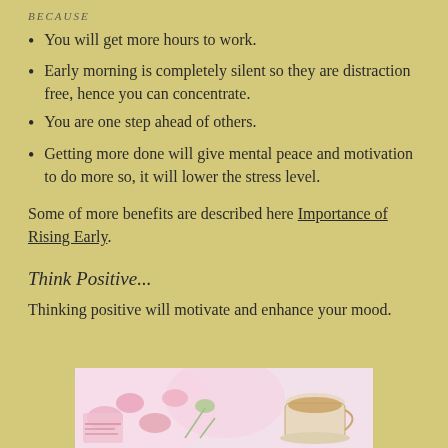BECAUSE
You will get more hours to work.
Early morning is completely silent so they are distraction free, hence you can concentrate.
You are one step ahead of others.
Getting more done will give mental peace and motivation to do more so, it will lower the stress level.
Some of more benefits are described here Importance of Rising Early.
Think Positive...
Thinking positive will motivate and enhance your mood.
[Figure (photo): A photo showing a cup of coffee or tea on a saucer with pink flowers and a magazine, on a light background.]